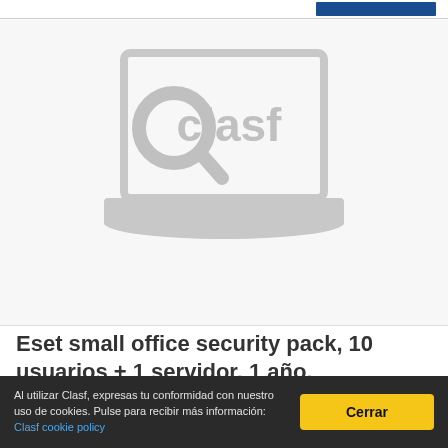[Figure (logo): Clasf logo watermark on a laptop placeholder image — grey laptop outline with 'clasf' text and magnifying glass icon inside, on a light grey background]
Eset small office security pack, 10 usuarios + 1 servidor, 1 año, windows/mac/linux/android/ios
Al utilizar Clasf, expresas tu conformidad con nuestro uso de cookies. Pulse para recibir más información: Clasf cookie policy